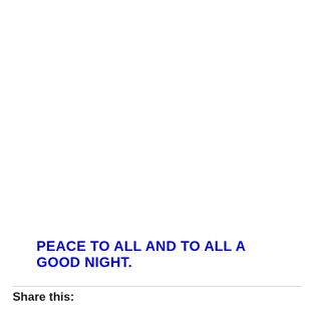PEACE TO ALL AND TO ALL A GOOD NIGHT.
Share this: